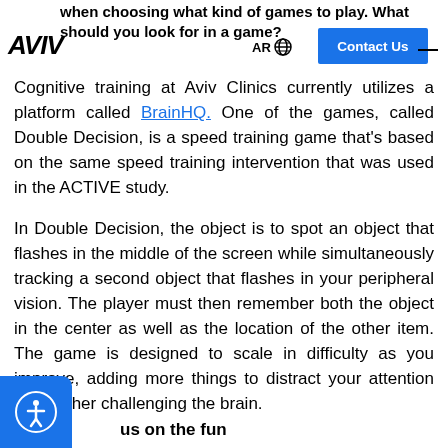when choosing what kind of games to play. What should you look for in a game? [AVIV logo] AR [globe] [Contact Us] [menu]
Cognitive training at Aviv Clinics currently utilizes a platform called BrainHQ. One of the games, called Double Decision, is a speed training game that's based on the same speed training intervention that was used in the ACTIVE study.
In Double Decision, the object is to spot an object that flashes in the middle of the screen while simultaneously tracking a second object that flashes in your peripheral vision. The player must then remember both the object in the center as well as the location of the other item. The game is designed to scale in difficulty as you improve, adding more things to distract your attention and further challenging the brain.
us on the fun